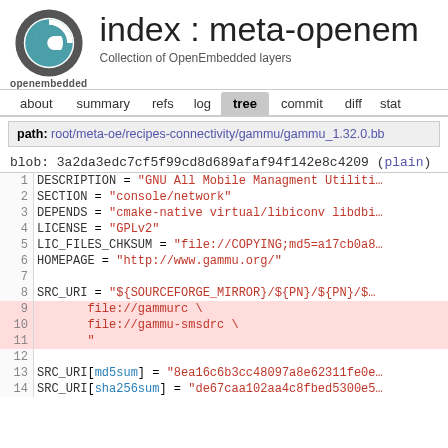[Figure (logo): OpenEmbedded circular logo in grey/teal with letter e]
index : meta-openem
openembedded   Collection of OpenEmbedded layers
about  summary  refs  log  tree  commit  diff  stat
path: root/meta-oe/recipes-connectivity/gammu/gammu_1.32.0.bb
blob: 3a2da3edc7cf5f99cd8d689afaf94f142e8c4209 (plain)
| # | code |
| --- | --- |
| 1 | DESCRIPTION = "GNU All Mobile Managment Utiliti… |
| 2 | SECTION = "console/network" |
| 3 | DEPENDS = "cmake-native virtual/libiconv libdbi… |
| 4 | LICENSE = "GPLv2" |
| 5 | LIC_FILES_CHKSUM = "file://COPYING;md5=a17cb0a8… |
| 6 | HOMEPAGE = "http://www.gammu.org/" |
| 7 |  |
| 8 | SRC_URI = "${SOURCEFORGE_MIRROR}/${PN}/${PN}/$… |
| 9 |         file://gammurc \ |
| 10 |         file://gammu-smsdrc \ |
| 11 |         " |
| 12 |  |
| 13 | SRC_URI[md5sum] = "8ea16c6b3cc48097a8e62311fe0e… |
| 14 | SRC_URI[sha256sum] = "de67caa102aa4c8fbed5300e5… |